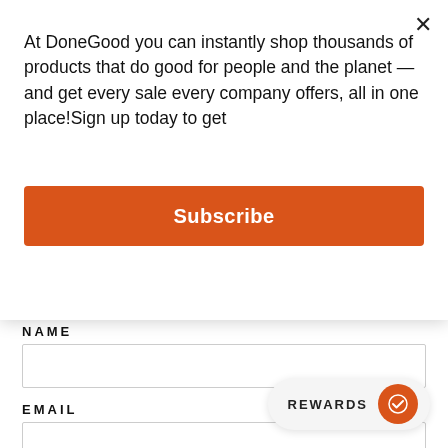At DoneGood you can instantly shop thousands of products that do good for people and the planet — and get every sale every company offers, all in one place!Sign up today to get
Subscribe
NAME
EMAIL
MESSAGE
REWARDS